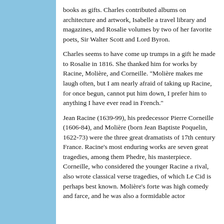books as gifts. Charles contributed albums on architecture and artwork, Isabelle a travel library and magazines, and Rosalie volumes by two of her favorite poets, Sir Walter Scott and Lord Byron.
Charles seems to have come up trumps in a gift he made to Rosalie in 1816. She thanked him for works by Racine, Molière, and Corneille. "Molière makes me laugh often, but I am nearly afraid of taking up Racine, for once begun, cannot put him down, I prefer him to anything I have ever read in French."
Jean Racine (1639-99), his predecessor Pierre Corneille (1606-84), and Molière (born Jean Baptiste Poquelin, 1622-73) were the three great dramatists of 17th century France. Racine's most enduring works are seven great tragedies, among them Phedre, his masterpiece. Corneille, who considered the younger Racine a rival, also wrote classical verse tragedies, of which Le Cid is perhaps best known. Molière's forte was high comedy and farce, and he was also a formidable actor